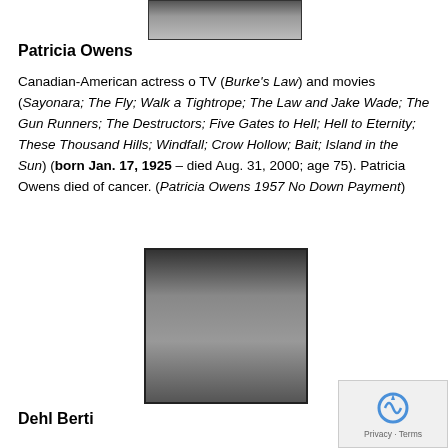[Figure (photo): Black and white photo of Patricia Owens (partially visible, top portion)]
Patricia Owens
Canadian-American actress o TV (Burke's Law) and movies (Sayonara; The Fly; Walk a Tightrope; The Law and Jake Wade; The Gun Runners; The Destructors; Five Gates to Hell; Hell to Eternity; These Thousand Hills; Windfall; Crow Hollow; Bait; Island in the Sun) (born Jan. 17, 1925 – died Aug. 31, 2000; age 75). Patricia Owens died of cancer. (Patricia Owens 1957 No Down Payment)
[Figure (photo): Black and white portrait photo of Dehl Berti, a man wearing a hat, looking at camera]
Dehl Berti